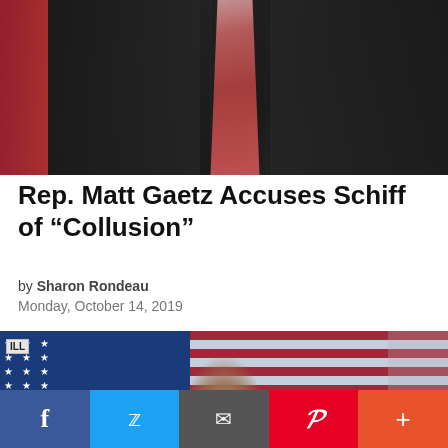[Figure (photo): Cropped photo of a man in a dark pinstripe suit with a pink/red tie, partial American flag visible on left side]
Rep. Matt Gaetz Accuses Schiff of “Collusion”
by Sharon Rondeau
Monday, October 14, 2019
[Figure (photo): Photo of a man (Adam Schiff) in front of American flags, with a name badge visible in upper left reading 'ILL']
Facebook | Twitter | Email | Pinterest | More